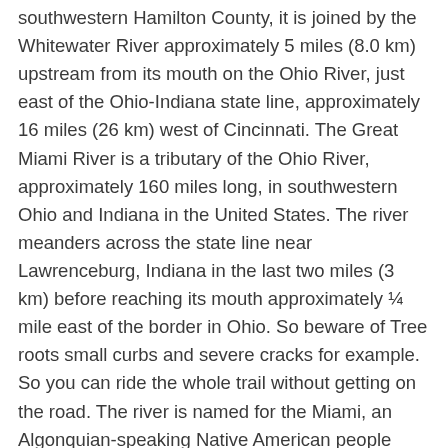southwestern Hamilton County, it is joined by the Whitewater River approximately 5 miles (8.0 km) upstream from its mouth on the Ohio River, just east of the Ohio-Indiana state line, approximately 16 miles (26 km) west of Cincinnati. The Great Miami River is a tributary of the Ohio River, approximately 160 miles long, in southwestern Ohio and Indiana in the United States. The river meanders across the state line near Lawrenceburg, Indiana in the last two miles (3 km) before reaching its mouth approximately ¼ mile east of the border in Ohio. So beware of Tree roots small curbs and severe cracks for example. So you can ride the whole trail without getting on the road. The river is named for the Miami, an Algonquian-speaking Native American people who lived in the region during the early days of European settlement. In recent years dirt has built up on parts of the trail. This trail is such an awesome trail! Navigating Troy would have been much easier if we had some kind of map of the town ( with restaurants or gas stations, e.g.) The original bike